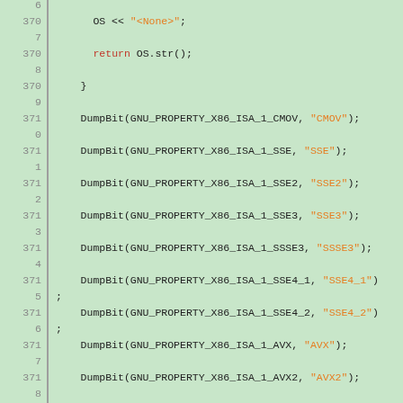[Figure (screenshot): Source code listing showing C++ code with line numbers. The code shows DumpBit calls for various GNU_PROPERTY_X86_ISA_1 properties (CMOV, SSE, SSE2, SSE3, SSSE3, SSE4_1, SSE4_2, AVX, AVX2, FMA, AVX512F) with string literals, plus OS << "<None>" and return OS.str() statements, on a green background.]